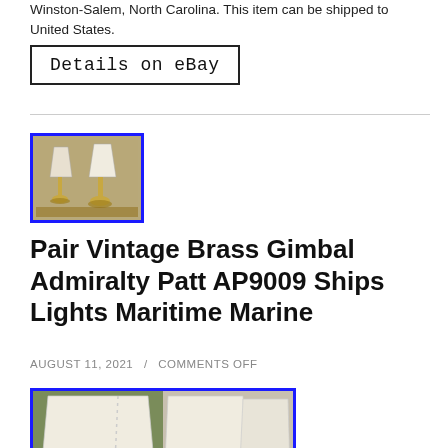Winston-Salem, North Carolina. This item can be shipped to United States.
Details on eBay
[Figure (photo): Thumbnail photo of two vintage brass gimbal lamps with white shades on a wooden surface, bordered in blue]
Pair Vintage Brass Gimbal Admiralty Patt AP9009 Ships Lights Maritime Marine
AUGUST 11, 2021 / COMMENTS OFF
[Figure (photo): Photo showing two white fabric lamp shades side by side, one with a chain pull, bordered in blue]